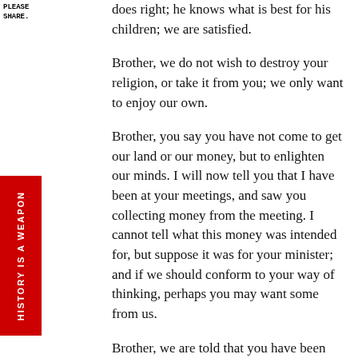PLEASE SHARE.
does right; he knows what is best for his children; we are satisfied.
Brother, we do not wish to destroy your religion, or take it from you; we only want to enjoy our own.
Brother, you say you have not come to get our land or our money, but to enlighten our minds. I will now tell you that I have been at your meetings, and saw you collecting money from the meeting. I cannot tell what this money was intended for, but suppose it was for your minister; and if we should conform to your way of thinking, perhaps you may want some from us.
Brother, we are told that you have been preaching to the white people in this place. These people are our neighbors; we are acquainted with them; we will wait, a little while and see what effect your preaching has upon them. If we find it does them good, makes them honest and less disposed to cheat
[Figure (other): Red vertical sidebar banner reading HISTORY IS A WEAPON in white bold uppercase rotated text]